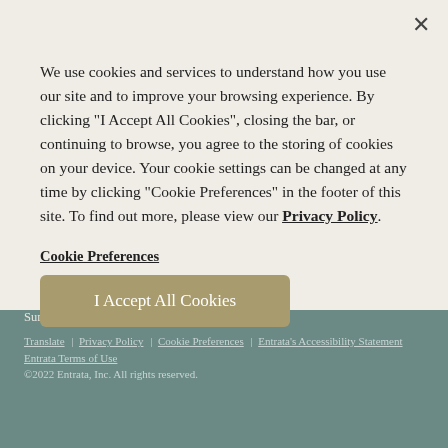We use cookies and services to understand how you use our site and to improve your browsing experience. By clicking "I Accept All Cookies", closing the bar, or continuing to browse, you agree to the storing of cookies on your device. Your cookie settings can be changed at any time by clicking "Cookie Preferences" in the footer of this site. To find out more, please view our Privacy Policy.
Cookie Preferences
I Accept All Cookies
Monday - Friday:  9:00 am - 6:00 pm  Saturday:  10:00 am - 5:00 pm  Sunday:  12:00 pm - 5:00 pm
Translate | Privacy Policy | Cookie Preferences | Entrata's Accessibility Statement
Entrata Terms of Use
©2022 Entrata, Inc. All rights reserved.